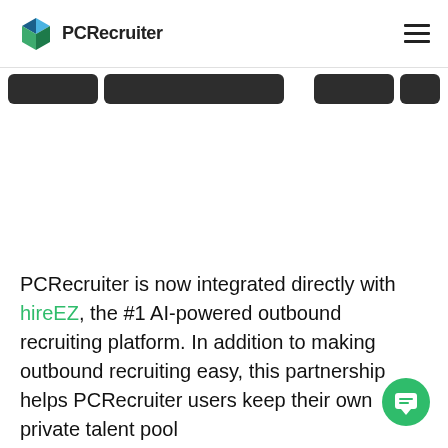PCRecruiter
[Figure (screenshot): Dark navigation bar with pill-shaped buttons partially visible at top of content area]
PCRecruiter is now integrated directly with hireEZ, the #1 AI-powered outbound recruiting platform. In addition to making outbound recruiting easy, this partnership helps PCRecruiter users keep their own private talent pool